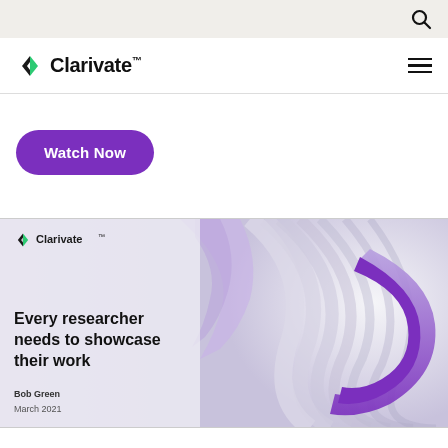Search icon top navigation bar
[Figure (logo): Clarivate logo with icon and wordmark in navigation bar]
[Figure (illustration): Watch Now purple button]
[Figure (screenshot): Clarivate promotional image: Every researcher needs to showcase their work. Bob Green. March 2021. Features abstract purple and white 3D swoosh graphic.]